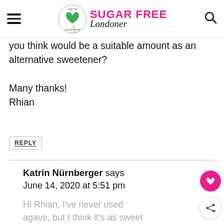Sugar Free Londoner
you think would be a suitable amount as an alternative sweetener?

Many thanks!
Rhian
REPLY
Katrin Nürnberger says
June 14, 2020 at 5:51 pm
Hi Rhian, I've never used agave, but I think it's as sweet